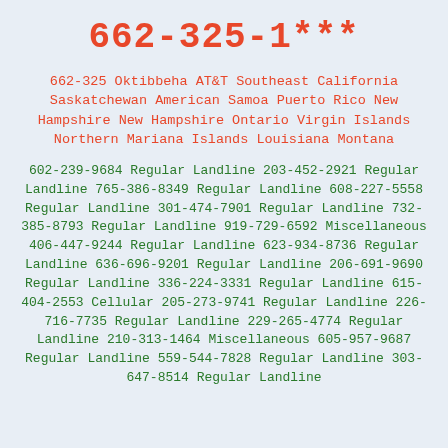662-325-1***
662-325 Oktibbeha AT&T Southeast California Saskatchewan American Samoa Puerto Rico New Hampshire New Hampshire Ontario Virgin Islands Northern Mariana Islands Louisiana Montana
602-239-9684 Regular Landline 203-452-2921 Regular Landline 765-386-8349 Regular Landline 608-227-5558 Regular Landline 301-474-7901 Regular Landline 732-385-8793 Regular Landline 919-729-6592 Miscellaneous 406-447-9244 Regular Landline 623-934-8736 Regular Landline 636-696-9201 Regular Landline 206-691-9690 Regular Landline 336-224-3331 Regular Landline 615-404-2553 Cellular 205-273-9741 Regular Landline 226-716-7735 Regular Landline 229-265-4774 Regular Landline 210-313-1464 Miscellaneous 605-957-9687 Regular Landline 559-544-7828 Regular Landline 303-647-8514 Regular Landline